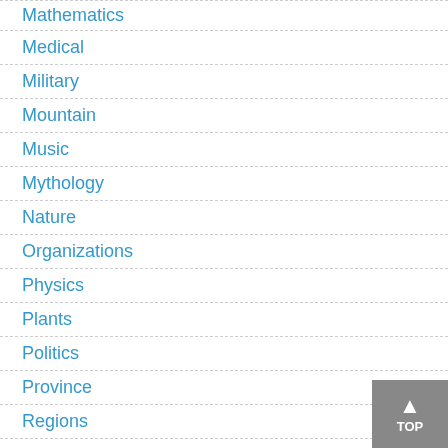Mathematics
Medical
Military
Mountain
Music
Mythology
Nature
Organizations
Physics
Plants
Politics
Province
Regions
Religion
Rivers
Science
Social
Sports
States
Technology